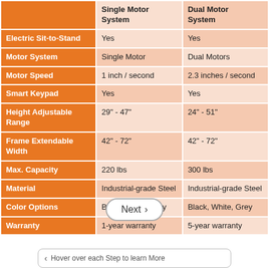| Feature | Single Motor System | Dual Motor System |
| --- | --- | --- |
| Electric Sit-to-Stand | Yes | Yes |
| Motor System | Single Motor | Dual Motors |
| Motor Speed | 1 inch / second | 2.3 inches / second |
| Smart Keypad | Yes | Yes |
| Height Adjustable Range | 29" - 47" | 24" - 51" |
| Frame Extendable Width | 42" - 72" | 42" - 72" |
| Max. Capacity | 220 lbs | 300 lbs |
| Material | Industrial-grade Steel | Industrial-grade Steel |
| Color Options | Black, White, Grey | Black, White, Grey |
| Warranty | 1-year warranty | 5-year warranty |
Next